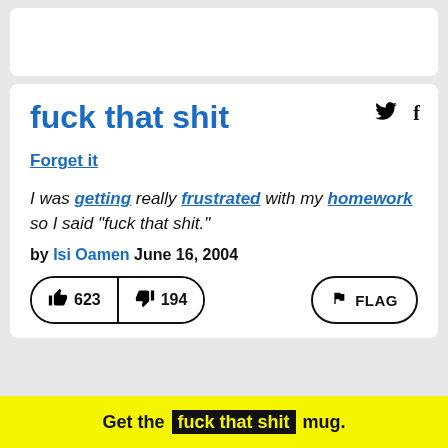fuck that shit
Forget it
I was getting really frustrated with my homework so I said "fuck that shit."
by Isi Oamen June 16, 2004
👍 623  👎 194  FLAG
Get the fuck that shit mug.